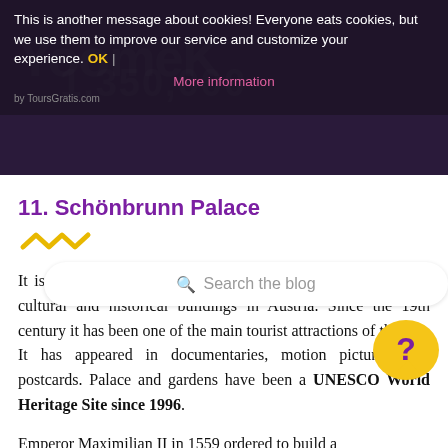This is another message about cookies! Everyone eats cookies, but we use them to improve our service and customize your experience. OK | More information
[Figure (screenshot): Dark header background with website logo text and byline 'by ToursGratis.com']
[Figure (screenshot): Search bar with placeholder text 'Search the blog']
11. Schönbrunn Palace
[Figure (illustration): Yellow zigzag/wave decorative divider line]
It is also known as the Viennese Versailles, one of the main cultural and historical buildings in Austria. Since the 19th century it has been one of the main tourist attractions of the city. It has appeared in documentaries, motion pictures, and postcards. Palace and gardens have been a UNESCO World Heritage Site since 1996.
Emperor Maximilian II in 1559 ordered to build a